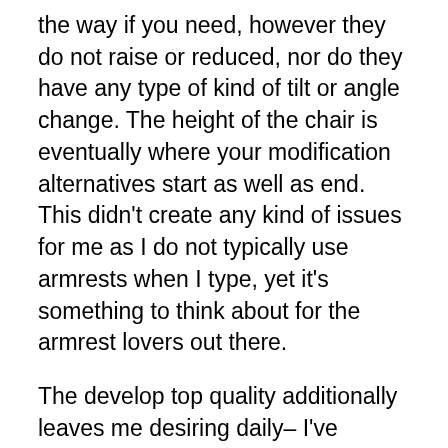the way if you need, however they do not raise or reduced, nor do they have any type of kind of tilt or angle change. The height of the chair is eventually where your modification alternatives start as well as end. This didn't create any kind of issues for me as I do not typically use armrests when I type, yet it's something to think about for the armrest lovers out there.
The develop top quality additionally leaves me desiring daily– I've utilized chairs less than half the price of the BackStrong C1 with nicer construct quality. The chair rocks back and forth (in such a way that it should not), making the base really feel less-than-stable. The left arm is likewise loose, so it moves up concerning an inch very conveniently, the